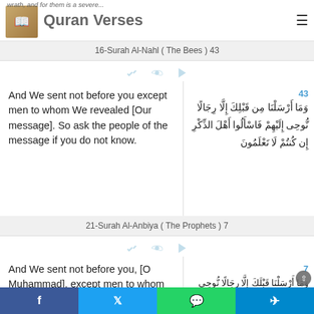Quran Verses
16-Surah Al-Nahl ( The Bees ) 43
And We sent not before you except men to whom We revealed [Our message]. So ask the people of the message if you do not know.
21-Surah Al-Anbiya ( The Prophets ) 7
And We sent not before you, [O Muhammad], except men to whom We revealed [the message], so ask the people of the message if you do not know.